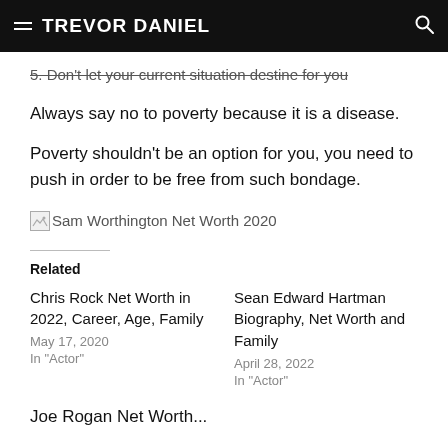TREVOR DANIEL
5. Don't let your current situation destine for you
Always say no to poverty because it is a disease.
Poverty shouldn't be an option for you, you need to push in order to be free from such bondage.
[Figure (photo): Broken image placeholder for Sam Worthington Net Worth 2020]
Related
Chris Rock Net Worth in 2022, Career, Age, Family
May 17, 2020
In "Actor"
Sean Edward Hartman Biography, Net Worth and Family
April 28, 2022
In "Actor"
Joe Rogan Net Worth...